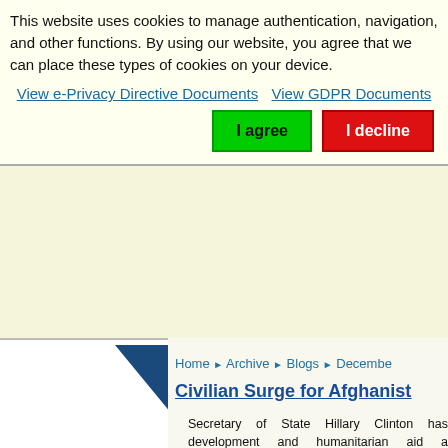This website uses cookies to manage authentication, navigation, and other functions. By using our website, you agree that we can place these types of cookies on your device.
View e-Privacy Directive Documents
View GDPR Documents
I agree
I decline
Home ▶ Archive ▶ Blogs ▶ December
Civilian Surge for Afghanist...
Secretary of State Hillary Clinton has development and humanitarian aid a conference in Kabul here.) In this init voiced his conviction the Pentagon n see eye-to-eye is a change from recen in combat theaters, including Iraq.
In their joint support for a combined st One is that the mission will not be allo on selected areas in order to fit limited